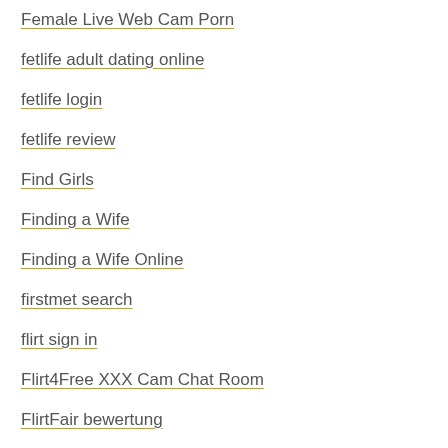Female Live Web Cam Porn
fetlife adult dating online
fetlife login
fetlife review
Find Girls
Finding a Wife
Finding a Wife Online
firstmet search
flirt sign in
Flirt4Free XXX Cam Chat Room
FlirtFair bewertung
FlirtyMania XXX Cams Chat
Flirtymania.com